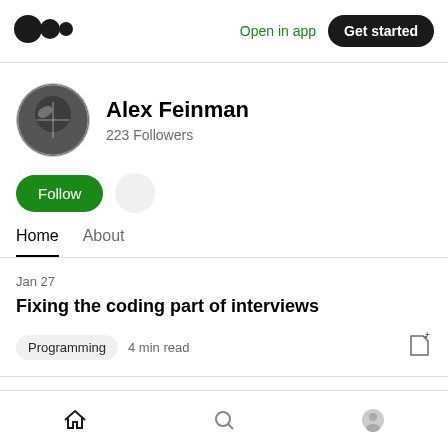Medium logo | Open in app | Get started
[Figure (photo): Medium logo - three black circles of different sizes]
Alex Feinman
223 Followers
Follow
Home   About
Jan 27
Fixing the coding part of interviews
Programming  4 min read
Home | Search | Profile